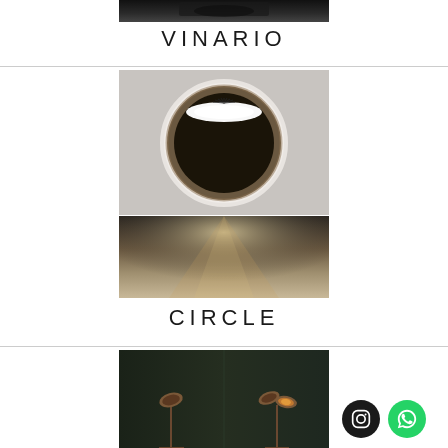[Figure (photo): Top portion of Vinario product photo, dark background with lighting fixture]
VINARIO
[Figure (photo): Circle recessed downlight fixture showing circular aperture with white diffuser and dark bronze trim, close-up product shot on grey background]
[Figure (photo): Circle downlight beam effect photo showing warm light cast on dark surface]
CIRCLE
[Figure (photo): Bottom section showing outdoor/track spot light fixtures on poles, copper/bronze finish, two heads visible, dark background]